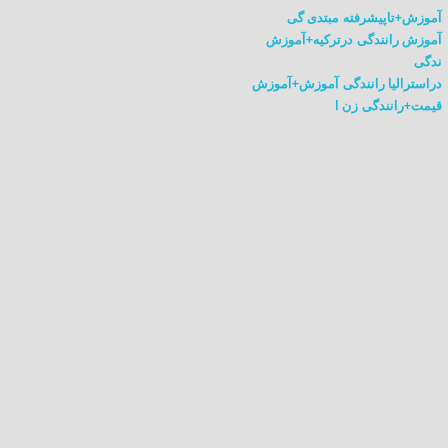آموزش+تاپیشرفته مبتدی گی
آموزش رانندگی درترکیه+آموزش ندگی
آموزش رانندگی دراسترالیا+آموزش
قیمت+ رانندگی زن ا
[Figure (photo): Dark interior shot of a person with long dark hair viewed from behind/side, sitting in a car, dark background]
[Figure (photo): Exterior view from inside a car showing a car roof/windshield area and green trees in the background on a bright day]